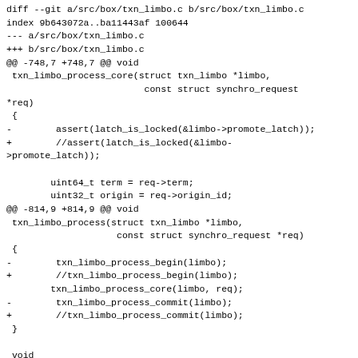diff --git a/src/box/txn_limbo.c b/src/box/txn_limbo.c
index 9b643072a..ba11443af 100644
--- a/src/box/txn_limbo.c
+++ b/src/box/txn_limbo.c
@@ -748,7 +748,7 @@ void
 txn_limbo_process_core(struct txn_limbo *limbo,
                         const struct synchro_request
*req)
 {
-        assert(latch_is_locked(&limbo->promote_latch));
+        //assert(latch_is_locked(&limbo-
>promote_latch));

        uint64_t term = req->term;
        uint32_t origin = req->origin_id;
@@ -814,9 +814,9 @@ void
 txn_limbo_process(struct txn_limbo *limbo,
                    const struct synchro_request *req)
 {
-        txn_limbo_process_begin(limbo);
+        //txn_limbo_process_begin(limbo);
        txn_limbo_process_core(limbo, req);
-        txn_limbo_process_commit(limbo);
+        //txn_limbo_process_commit(limbo);
 }

 void
diff --git a/src/box/txn_limbo.h b/src/box/txn_limbo.h
index 0bbd7a1c3..10d20e956 100644
--- a/src/box/txn_limbo.h
+++ b/src/box/txn_limbo.h